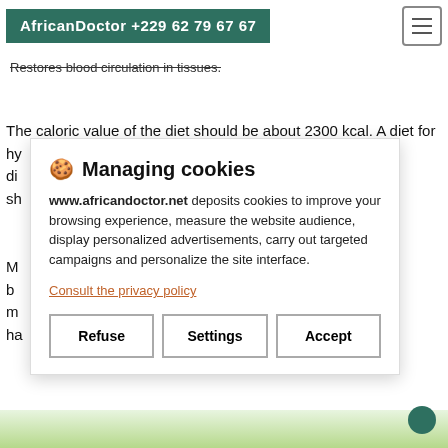AfricanDoctor +229 62 79 67 67
Restores blood circulation in tissues.
The caloric value of the diet should be about 2300 kcal. A diet for hy... di... u sh...
M... d b... a m... n ha...
Managing cookies

www.africandoctor.net deposits cookies to improve your browsing experience, measure the website audience, display personalized advertisements, carry out targeted campaigns and personalize the site interface.

Consult the privacy policy

Refuse | Settings | Accept